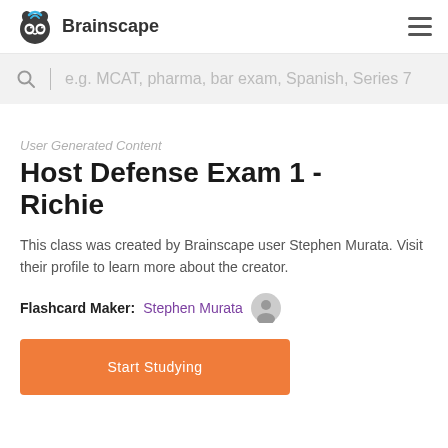Brainscape
e.g. MCAT, pharma, bar exam, Spanish, Series 7
User Generated Content
Host Defense Exam 1 - Richie
This class was created by Brainscape user Stephen Murata. Visit their profile to learn more about the creator.
Flashcard Maker:  Stephen Murata
Start Studying